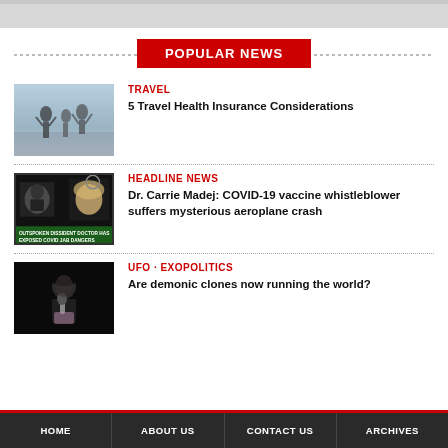[Figure (photo): Top strip image partial view]
POPULAR NEWS
[Figure (photo): People on waterfront raising arms]
TRAVEL
5 Travel Health Insurance Considerations
[Figure (photo): Headline news thumbnail with Dr. Carrie Madej text overlay]
HEADLINE NEWS
Dr. Carrie Madej: COVID-19 vaccine whistleblower suffers mysterious aeroplane crash
[Figure (photo): Person singing with microphone, dark background]
UFO · EXOPOLITICS
Are demonic clones now running the world?
HOME   ABOUT US   CONTACT US   ARCHIVES